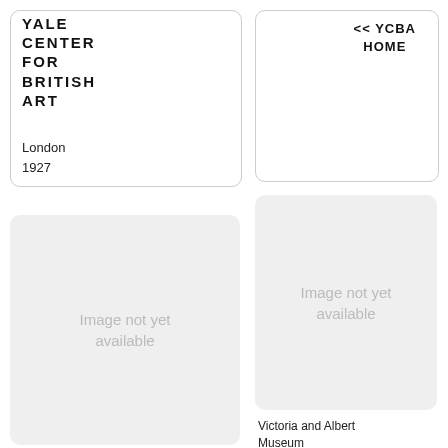YALE CENTER FOR BRITISH ART
<< YCBA HOME
London
1927
[Figure (other): Image not yet available placeholder (bottom left)]
[Figure (other): Image not yet available placeholder (bottom right)]
Victoria and Albert Museum